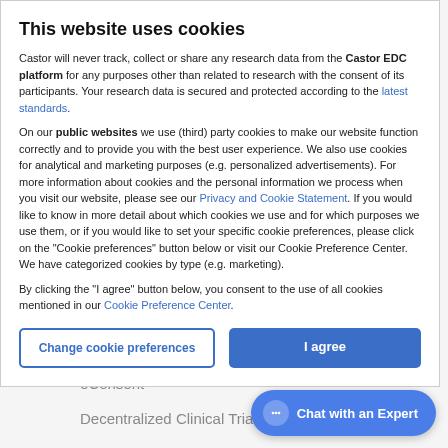This website uses cookies
Castor will never track, collect or share any research data from the Castor EDC platform for any purposes other than related to research with the consent of its participants. Your research data is secured and protected according to the latest standards.
On our public websites we use (third) party cookies to make our website function correctly and to provide you with the best user experience. We also use cookies for analytical and marketing purposes (e.g. personalized advertisements). For more information about cookies and the personal information we process when you visit our website, please see our Privacy and Cookie Statement. If you would like to know in more detail about which cookies we use and for which purposes we use them, or if you would like to set your specific cookie preferences, please click on the "Cookie preferences" button below or visit our Cookie Preference Center. We have categorized cookies by type (e.g. marketing).
By clicking the "I agree" button below, you consent to the use of all cookies mentioned in our Cookie Preference Center.
Change cookie preferences
I agree
ePRO
eConsent
Decentralized Clinical Trials (DC...
Clinical Data Management
Chat with an Expert